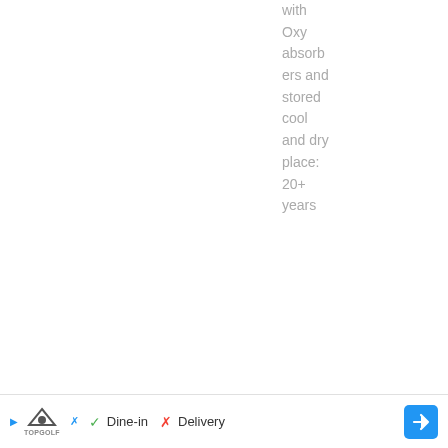with Oxy absorbers and stored cool and dry place: 20+ years
| Name | Type | Cooking Time | Storage | Uses |
| --- | --- | --- | --- | --- |
| Green Split Peas | Field Peas | Stovetop: 60 minutes
Oven: 60 minutes | Regular bag in a cool dry place: 1-2 years | Soup, Salads, Add to rice or other grain side |
[Figure (photo): Green split peas with a wooden spoon]
Dine-in  Delivery